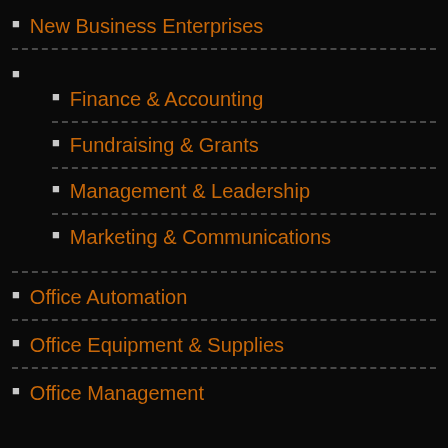New Business Enterprises
Finance & Accounting
Fundraising & Grants
Management & Leadership
Marketing & Communications
Office Automation
Office Equipment & Supplies
Office Management